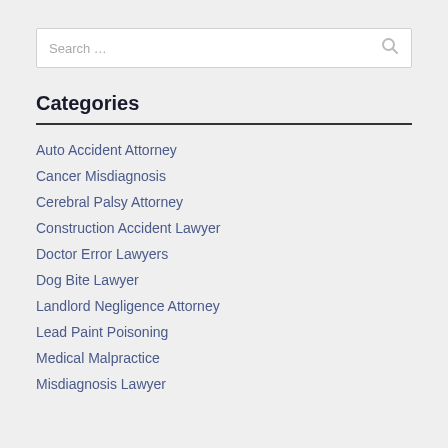[Figure (other): Search input box with placeholder text 'Search ...' and a search icon on the right]
Categories
Auto Accident Attorney
Cancer Misdiagnosis
Cerebral Palsy Attorney
Construction Accident Lawyer
Doctor Error Lawyers
Dog Bite Lawyer
Landlord Negligence Attorney
Lead Paint Poisoning
Medical Malpractice
Misdiagnosis Lawyer